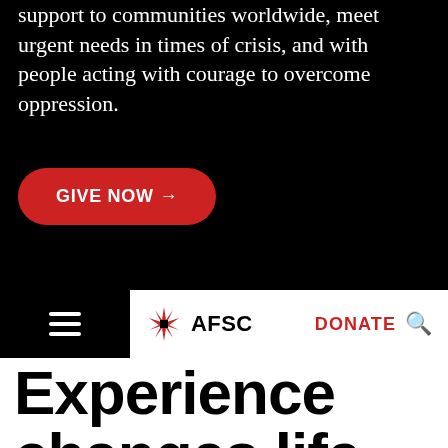support to communities worldwide, meet urgent needs in times of crisis, and with people acting with courage to overcome oppression.
GIVE NOW →
≡  ✦ AFSC    DONATE  🔍
Experience changes life